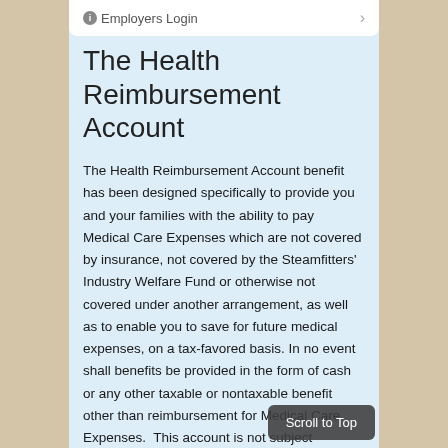Employers Login
The Health Reimbursement Account
The Health Reimbursement Account benefit has been designed specifically to provide you and your families with the ability to pay Medical Care Expenses which are not covered by insurance, not covered by the Steamfitters’ Industry Welfare Fund or otherwise not covered under another arrangement, as well as to enable you to save for future medical expenses, on a tax-favored basis. In no event shall benefits be provided in the form of cash or any other taxable or nontaxable benefit other than reimbursement for Medical Care Expenses.  This account is not subject
Scroll to Top